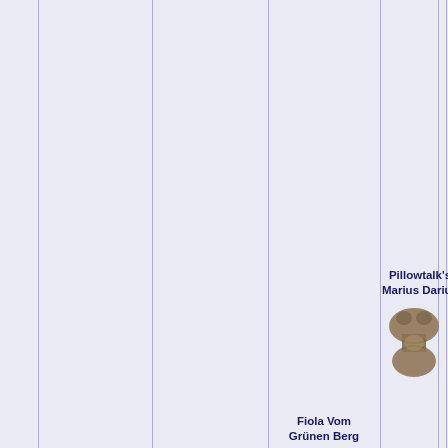Pillowtalk's Marius Darius
[Figure (photo): Small brown fluffy dog, viewed from above, in a bone-like or hourglass shape pose]
Fiola Vom Grünen Berg